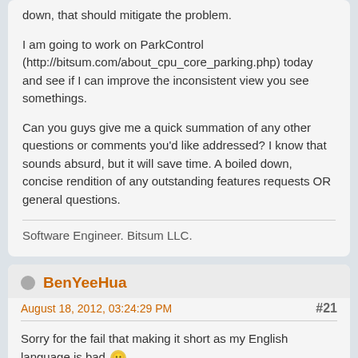down, that should mitigate the problem.
I am going to work on ParkControl (http://bitsum.com/about_cpu_core_parking.php) today and see if I can improve the inconsistent view you see somethings.
Can you guys give me a quick summation of any other questions or comments you'd like addressed? I know that sounds absurd, but it will save time. A boiled down, concise rendition of any outstanding features requests OR general questions.
Software Engineer. Bitsum LLC.
BenYeeHua
August 18, 2012, 03:24:29 PM
#21
Sorry for the fail that making it short as my English language is bad 😐
I will trying making a short question at top 🙂
1.Using newest VS2012 is getting performance, but losing